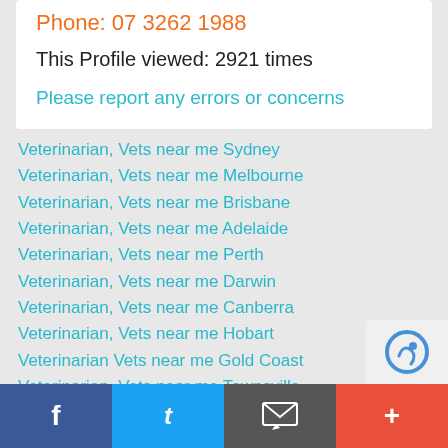Phone: 07 3262 1988
This Profile viewed: 2921 times
Please report any errors or concerns
Veterinarian, Vets near me Sydney
Veterinarian, Vets near me Melbourne
Veterinarian, Vets near me Brisbane
Veterinarian, Vets near me Adelaide
Veterinarian, Vets near me Perth
Veterinarian, Vets near me Darwin
Veterinarian, Vets near me Canberra
Veterinarian, Vets near me Hobart
Veterinarian Vets near me Gold Coast
Veterinarian, Vets near me Townsville
Emergency Vet, 24 hour Vet Sydney
Facebook | Twitter | Email | +